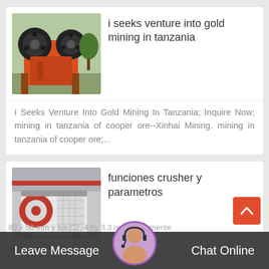[Figure (photo): Orange jaw crusher machine with black flywheels, industrial mining equipment outdoors]
i seeks venture into gold mining in tanzania
I Seeks Venture Into Gold Mining In Tanzania; Inquire Now; mining in tanzania of cooper ore--Xinhai Mining. mining in tanzania of cooper ore;...
[Figure (photo): Large white and red industrial impact crusher machine in a factory warehouse]
funciones crusher y parametros
80 x 50 mm y los C2, 4 by 3.3 respectivamente
Leave Message   Chat Online